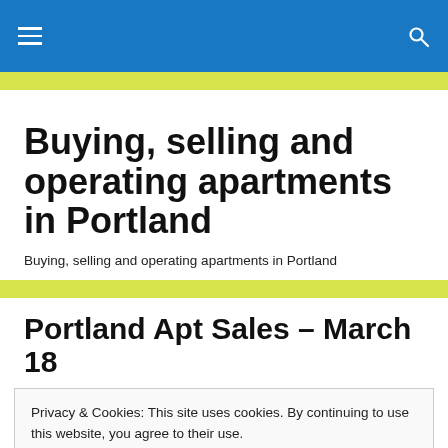Buying, selling and operating apartments in Portland
Buying, selling and operating apartments in Portland
Portland Apt Sales – March 18
Privacy & Cookies: This site uses cookies. By continuing to use this website, you agree to their use.
To find out more, including how to control cookies, see here: Cookie Policy